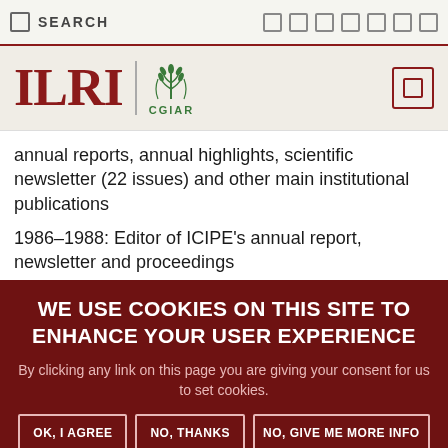SEARCH
[Figure (logo): ILRI CGIAR logo with emblem]
annual reports, annual highlights, scientific newsletter (22 issues) and other main institutional publications
1986–1988: Editor of ICIPE's annual report, newsletter and proceedings
WE USE COOKIES ON THIS SITE TO ENHANCE YOUR USER EXPERIENCE
By clicking any link on this page you are giving your consent for us to set cookies.
OK, I AGREE
NO, THANKS
NO, GIVE ME MORE INFO